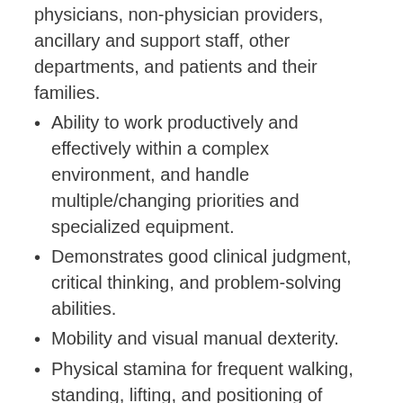physicians, non-physician providers, ancillary and support staff, other departments, and patients and their families.
Ability to work productively and effectively within a complex environment, and handle multiple/changing priorities and specialized equipment.
Demonstrates good clinical judgment, critical thinking, and problem-solving abilities.
Mobility and visual manual dexterity.
Physical stamina for frequent walking, standing, lifting, and positioning of patients.
Licensure, Certifications, and Clearances:
UPMC approved national certification preferred.
Current licensure as a Registered Professional Nurse, either in the state where the facility is